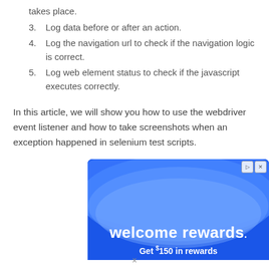takes place.
3. Log data before or after an action.
4. Log the navigation url to check if the navigation logic is correct.
5. Log web element status to check if the javascript executes correctly.
In this article, we will show you how to use the webdriver event listener and how to take screenshots when an exception happened in selenium test scripts.
[Figure (screenshot): Advertisement banner with blue wave background showing 'welcome rewards.' and 'Get $150 in rewards' text with close and navigate icons in top right corner.]